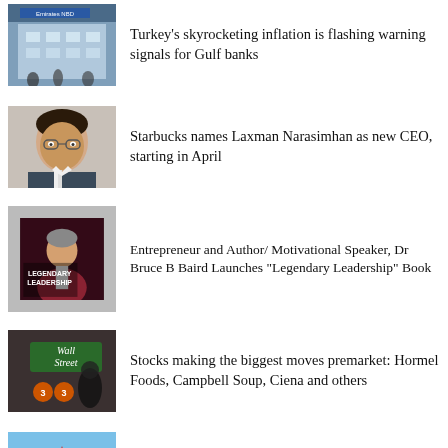[Figure (photo): Photo of Emirates NBD bank exterior with people walking by]
Turkey's skyrocketing inflation is flashing warning signals for Gulf banks
[Figure (photo): Portrait photo of Laxman Narasimhan]
Starbucks names Laxman Narasimhan as new CEO, starting in April
[Figure (photo): Dr Bruce B Baird in front of Legendary Leadership book cover]
Entrepreneur and Author/ Motivational Speaker, Dr Bruce B Baird Launches “Legendary Leadership” Book
[Figure (photo): Wall Street sign with people in background]
Stocks making the biggest moves premarket: Hormel Foods, Campbell Soup, Ciena and others
[Figure (photo): Sam's Club store sign]
Walmart-owned Sam’s Club raises annual membership fee for the first time